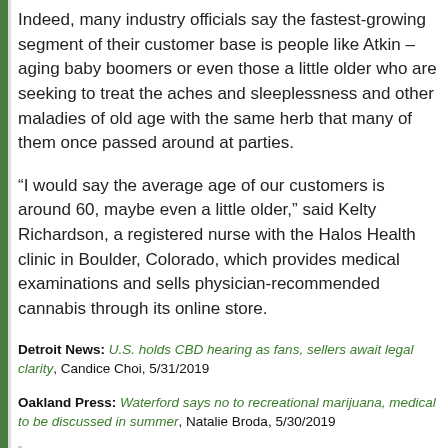Indeed, many industry officials say the fastest-growing segment of their customer base is people like Atkin – aging baby boomers or even those a little older who are seeking to treat the aches and sleeplessness and other maladies of old age with the same herb that many of them once passed around at parties.
“I would say the average age of our customers is around 60, maybe even a little older,” said Kelty Richardson, a registered nurse with the Halos Health clinic in Boulder, Colorado, which provides medical examinations and sells physician-recommended cannabis through its online store.
Detroit News: U.S. holds CBD hearing as fans, sellers await legal clarity, Candice Choi, 5/31/2019
Oakland Press: Waterford says no to recreational marijuana, medical to be discussed in summer, Natalie Broda, 5/30/2019
Waterford now joins more than 30 other